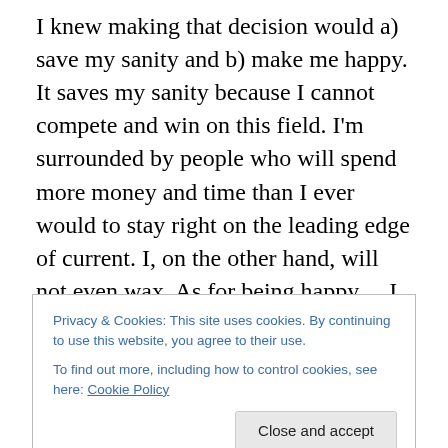I knew making that decision would a) save my sanity and b) make me happy. It saves my sanity because I cannot compete and win on this field. I'm surrounded by people who will spend more money and time than I ever would to stay right on the leading edge of current. I, on the other hand, will not even wax. As for being happy… I live in a city that other people save up their precious cash and vacation time to see. I get to see it every day. I'm going to go ahead and be impressed and tickled by all of it. I will gawk every time I see the lit-up Empire State Building wreathed in mist. I'll take in every billboard on Times
Privacy & Cookies: This site uses cookies. By continuing to use this website, you agree to their use.
To find out more, including how to control cookies, see here: Cookie Policy
Close and accept
people. I see it, all these things are hopelessly uncool. But